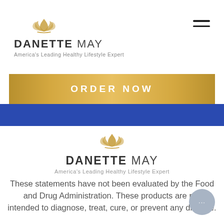[Figure (logo): Danette May logo with lotus flower icon, text 'DANETTE MAY' and tagline 'America's Leading Healthy Lifestyle Expert']
ORDER NOW
[Figure (logo): Danette May logo centered with lotus flower icon, text 'DANETTE MAY' and tagline 'America's Leading Healthy Lifestyle Expert']
These statements have not been evaluated by the Food and Drug Administration. These products are not intended to diagnose, treat, cure, or prevent any disease.